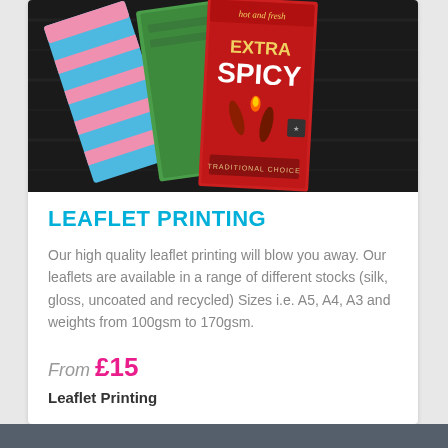[Figure (photo): Photo of printed leaflets/cards fanned out on a dark wooden surface. The front card is red with 'EXTRA SPICY' text and chili pepper illustrations. Behind it are a green card and a blue/pink striped card.]
LEAFLET PRINTING
Our high quality leaflet printing will blow you away. Our leaflets are available in a range of different stocks (silk, gloss, uncoated and recycled) Sizes i.e. A5, A4, A3 and weights from 100gsm to 170gsm.
From £15
Leaflet Printing